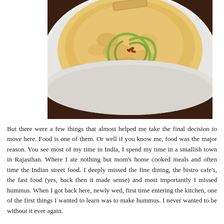[Figure (photo): A close-up photo of hummus in a white bowl, garnished with a green olive oil spiral swirl and a few whole spiced nuts/seeds in the center. A cracker or chip is visible at the top edge. The bowl sits on a dark brown textured surface/placemat.]
But there were a few things that almost helped me take the final decision to move here. Food is one of them. Or well if you know me, food was the major reason. You see most of my time in India, I spend my time in a smallish town in Rajasthan. Where I ate nothing but mom's home cooked meals and often time the Indian street food. I deeply missed the fine dining, the bistro cafe's, the fast food (yes, back then it made sense) and most importantly I missed hummus. When I got back here, newly wed, first time entering the kitchen, one of the first things I wanted to learn was to make hummus. I never wanted to be without it ever again.